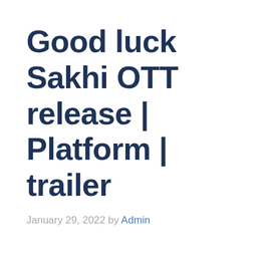Good luck Sakhi OTT release | Platform | trailer
January 29, 2022 by Admin